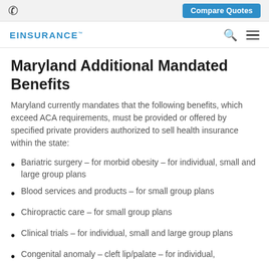Compare Quotes
EINSURANCE
Maryland Additional Mandated Benefits
Maryland currently mandates that the following benefits, which exceed ACA requirements, must be provided or offered by specified private providers authorized to sell health insurance within the state:
Bariatric surgery – for morbid obesity – for individual, small and large group plans
Blood services and products – for small group plans
Chiropractic care – for small group plans
Clinical trials – for individual, small and large group plans
Congenital anomaly – cleft lip/palate – for individual,